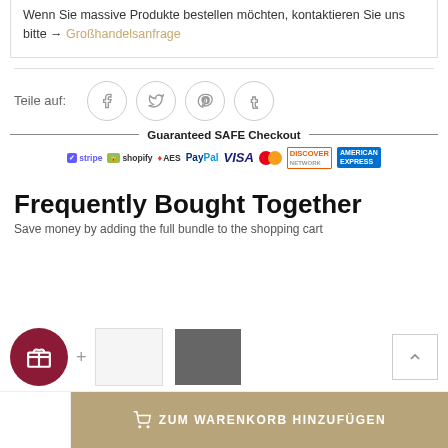Wenn Sie massive Produkte bestellen möchten, kontaktieren Sie uns bitte → Großhandelsanfrage
[Figure (infographic): Social share icons row: Teile auf: Facebook, Twitter, Pinterest, Tumblr circle icons]
[Figure (infographic): Guaranteed SAFE Checkout banner with payment logos: stripe, shopify, AES, PayPal, VISA, Mastercard, Discover, American Express]
Frequently Bought Together
Save money by adding the full bundle to the shopping cart
[Figure (infographic): Bottom bar with gift circle button, product thumbnails, and ZUM WARENKORB HINZUFÜGEN button]